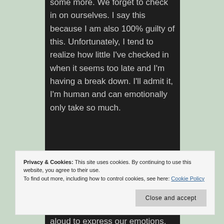some more. We forget to check in on ourselves. I say this because I am also 100% guilty of this. Unfortunately, I tend to realize how little I've checked in when it seems too late and I'm having a break down. I'll admit it, I'm human and can emotionally only take so much.
aloud to express our emotions.
Privacy & Cookies: This site uses cookies. By continuing to use this website, you agree to their use.
To find out more, including how to control cookies, see here: Cookie Policy
[Close and accept]